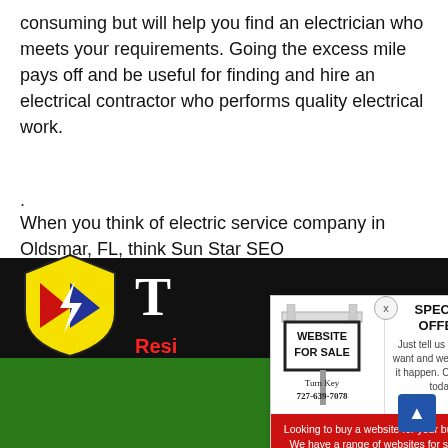consuming but will help you find an electrician who meets your requirements. Going the excess mile pays off and be useful for finding and hire an electrical contractor who performs quality electrical work.
.
When you think of electric service company in Oldsmar, FL, think Sun Star SEO
[Figure (other): Website For Sale advertisement popup overlay showing a real estate style sign with 'WEBSITE FOR SALE', 'Turn Key', '727-639-7078', a special offer section, and a red bottom section with text about buying a website.]